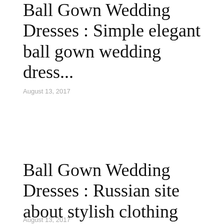Ball Gown Wedding Dresses : Simple elegant ball gown wedding dress...
August 13, 2017
Ball Gown Wedding Dresses : Russian site about stylish clothing alterations...
August 13, 2017